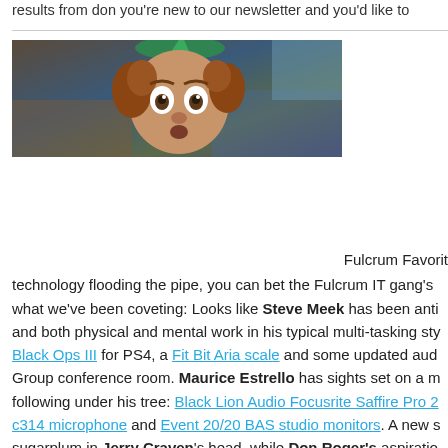results from don you're new to our newsletter and you'd like to
[Figure (photo): A person dressed as an elf peeking from inside what appears to be a storage area or cabinet, with wide surprised eyes and curly reddish hair with a colorful elf hat.]
Fulcrum Favorit
technology flooding the pipe, you can bet the Fulcrum IT gang's
what we've been coveting: Looks like Steve Meek has been anti
and both physical and mental work in his typical multi-tasking sty
Black Ops III for PS4, a Fit Bit Aria scale and some updated aud
Group conference room. Maurice Estrello has sights set on a m
following under his tree: Black Lion Audio Focusrite Saffire Pro 2
c314 microphone and Event 20/20 BAS studio monitors. A new s
sugarplum in Jerry Craven's head, while Don Roger's aspiratio